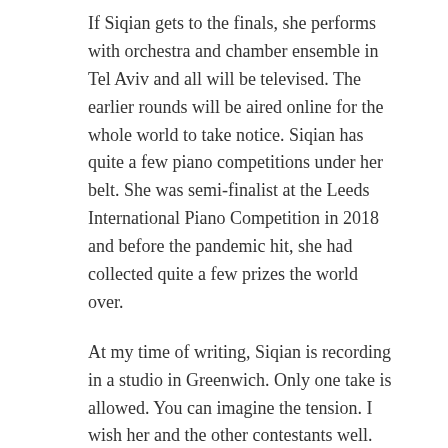If Siqian gets to the finals, she performs with orchestra and chamber ensemble in Tel Aviv and all will be televised. The earlier rounds will be aired online for the whole world to take notice. Siqian has quite a few piano competitions under her belt. She was semi-finalist at the Leeds International Piano Competition in 2018 and before the pandemic hit, she had collected quite a few prizes the world over.
At my time of writing, Siqian is recording in a studio in Greenwich. Only one take is allowed. You can imagine the tension. I wish her and the other contestants well.
KH
Arthur Rubinstein International Piano Master Competition https://arims.org.il/schedule-2021/